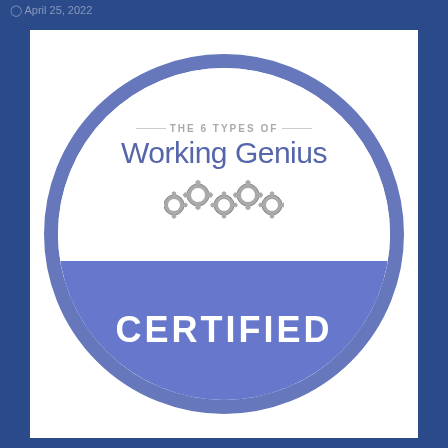April 25, 2022
[Figure (logo): The 6 Types of Working Genius Certified badge — a circular badge with a blue border. Top white half shows 'THE 6 TYPES OF' in small caps and 'Working Genius' in large blue text with gear icons below. Bottom blue half shows 'CERTIFIED' in large white bold text.]